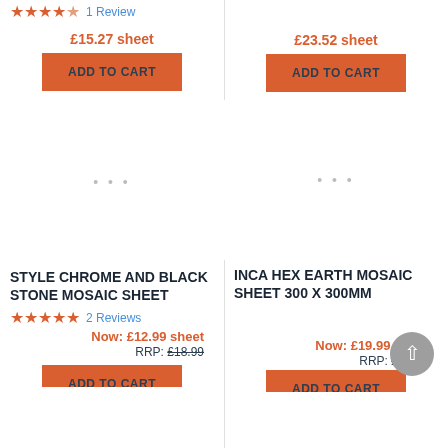1 Review (stars partial top left)
£15.27 sheet
£23.52 sheet
ADD TO CART
ADD TO CART
[Figure (other): Product image placeholder left - dots]
[Figure (other): Product image placeholder right - dots]
STYLE CHROME AND BLACK STONE MOSAIC SHEET
INCA HEX EARTH MOSAIC SHEET 300 X 300MM
2 Reviews
Now: £12.99 sheet
RRP: £18.99
Now: £19.99 sheet
RRP: £23.99
ADD TO CART (partial bottom left)
ADD TO CART (partial bottom right)